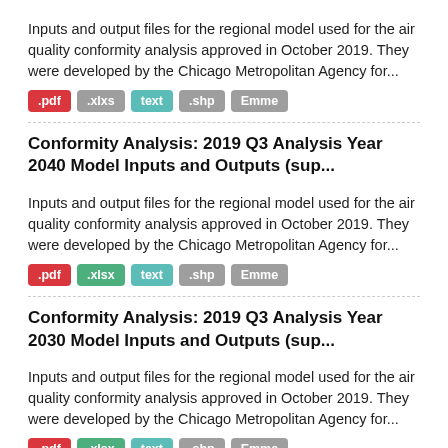Inputs and output files for the regional model used for the air quality conformity analysis approved in October 2019. They were developed by the Chicago Metropolitan Agency for...
.pdf .xlxs text .shp Emme
Conformity Analysis: 2019 Q3 Analysis Year 2040 Model Inputs and Outputs (sup...
Inputs and output files for the regional model used for the air quality conformity analysis approved in October 2019. They were developed by the Chicago Metropolitan Agency for...
.pdf .xlsx text .shp Emme
Conformity Analysis: 2019 Q3 Analysis Year 2030 Model Inputs and Outputs (sup...
Inputs and output files for the regional model used for the air quality conformity analysis approved in October 2019. They were developed by the Chicago Metropolitan Agency for...
.pdf .xlsx text .shp Emme